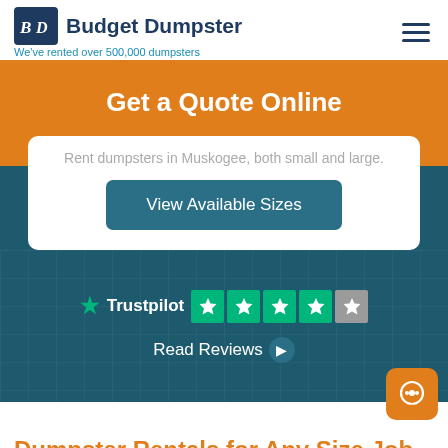[Figure (logo): Budget Dumpster logo with BD monogram in navy box]
Budget Dumpster
We've rented over 500,000 dumpsters
Get a Quote Online
Rent dumpsters in Muskogee, both small and large.
View Available Sizes
[Figure (other): Trustpilot rating showing 4 green stars and 1 grey star]
Read Reviews ❯
Dumpster Rentals for Any Size Job...